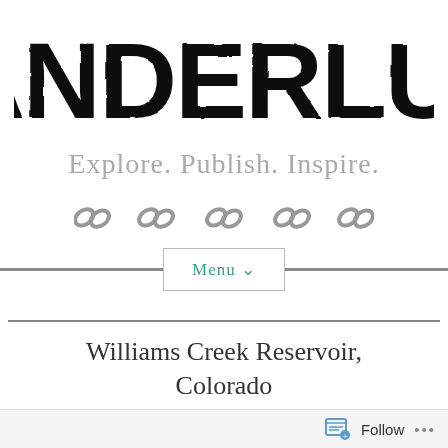WANDERLUST
Explore. Publish. Inspire.
[Figure (illustration): Five chain link icons in a row, decorative]
Menu ˅
Williams Creek Reservoir, Colorado
Follow ...